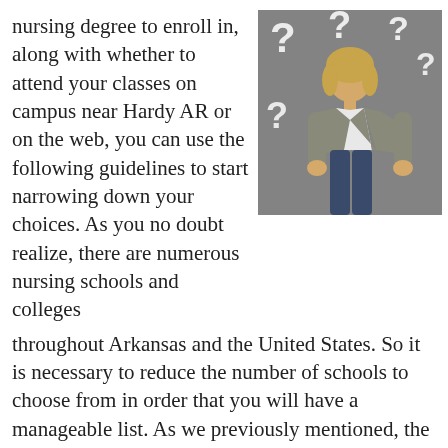nursing degree to enroll in, along with whether to attend your classes on campus near Hardy AR or on the web, you can use the following guidelines to start narrowing down your choices. As you no doubt realize, there are numerous nursing schools and colleges throughout Arkansas and the United States. So it is necessary to reduce the number of schools to choose from in order that you will have a manageable list. As we previously mentioned, the location of the school and the expense of tuition are most likely going to be the primary two points that you will consider. But as we also emphasized, they should not be your only qualifiers. So before making your final selection, use the following questions to see how your selection compares to the field.
[Figure (photo): Woman with blonde hair wearing a gray jacket and white shirt standing against a gray background with large white question marks around her, looking confused or contemplative.]